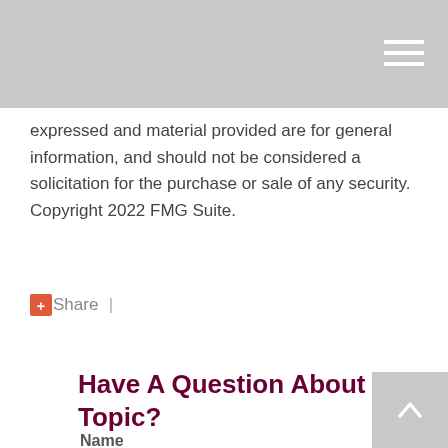expressed and material provided are for general information, and should not be considered a solicitation for the purchase or sale of any security. Copyright 2022 FMG Suite.
+ Share |
Have A Question About This Topic?
Name
Email